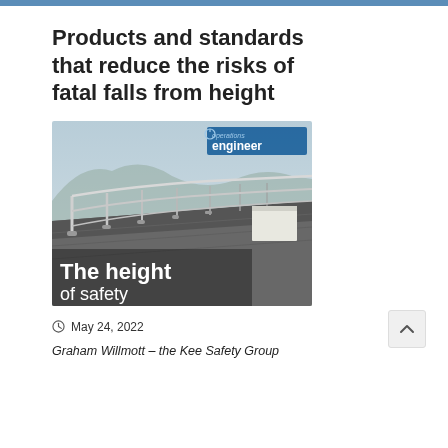Products and standards that reduce the risks of fatal falls from height
[Figure (photo): Magazine cover of 'Operations Engineer' showing a rooftop safety railing system on a flat roof with industrial background. Text overlay reads 'The height of safety'.]
May 24, 2022
Graham Willmott – the Kee Safety Group